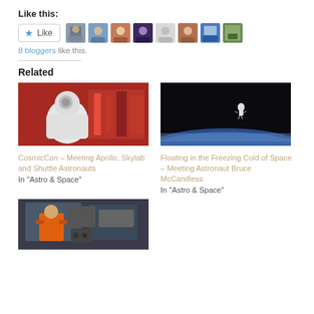Like this:
[Figure (screenshot): Like button with star icon and 8 blogger avatar thumbnails]
8 bloggers like this.
Related
[Figure (photo): Astronaut in white spacesuit near red equipment (CosmicCon related)]
CosmicCon – Meeting Apollo, Skylab and Shuttle Astronauts
In "Astro & Space"
[Figure (photo): Astronaut floating in space above Earth (Bruce McCandless)]
Floating in the Freezing Cold of Space – Meeting Astronaut Bruce McCandless
In "Astro & Space"
[Figure (photo): Astronaut in orange suit working inside spacecraft]